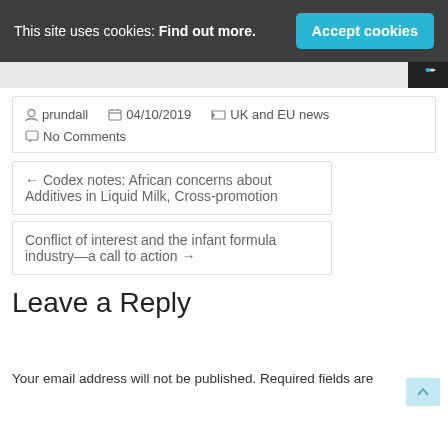This site uses cookies: Find out more.
Accept cookies
prundall  04/10/2019  UK and EU news  No Comments
← Codex notes: African concerns about Additives in Liquid Milk, Cross-promotion
Conflict of interest and the infant formula industry—a call to action →
Leave a Reply
Your email address will not be published. Required fields are